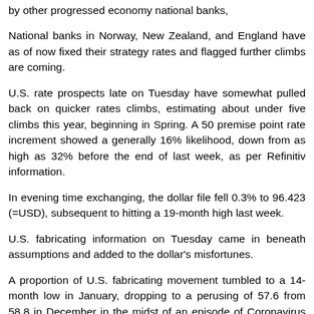by other progressed economy national banks,
National banks in Norway, New Zealand, and England have as of now fixed their strategy rates and flagged further climbs are coming.
U.S. rate prospects late on Tuesday have somewhat pulled back on quicker rates climbs, estimating about under five climbs this year, beginning in Spring. A 50 premise point rate increment showed a generally 16% likelihood, down from as high as 32% before the end of last week, as per Refinitiv information.
In evening time exchanging, the dollar file fell 0.3% to 96.423 (=USD), subsequent to hitting a 19-month high last week.
U.S. fabricating information on Tuesday came in beneath assumptions and added to the dollar's misfortunes.
A proportion of U.S. fabricating movement tumbled to a 14-month low in January, dropping to a perusing of 57.6 from 58.8 in December in the midst of an episode of Coronavirus diseases